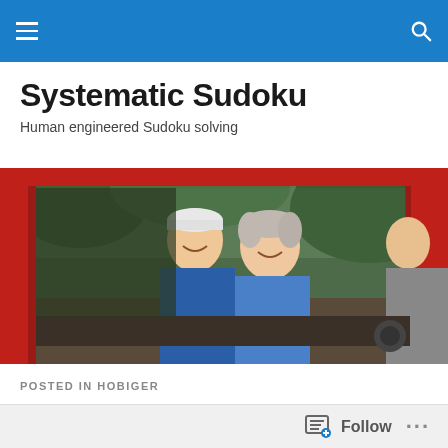Navigation bar with hamburger menu and search icon
Systematic Sudoku
Human engineered Sudoku solving
[Figure (photo): Two elderly people, a man wearing a white cap and a woman with grey hair, sitting together outdoors in a red-framed vehicle or ride, both smiling and wearing blue jackets.]
POSTED IN HOBIGER
Hodoku ALS Death Blossoms
Follow